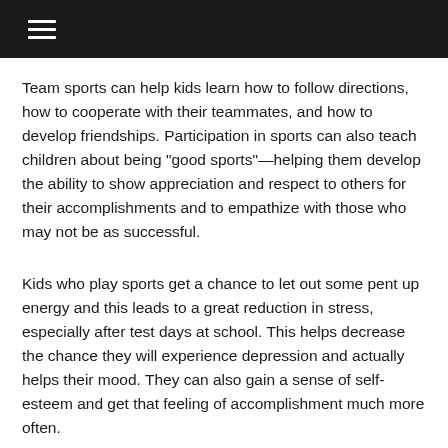☰
Team sports can help kids learn how to follow directions, how to cooperate with their teammates, and how to develop friendships. Participation in sports can also teach children about being "good sports"—helping them develop the ability to show appreciation and respect to others for their accomplishments and to empathize with those who may not be as successful.
Kids who play sports get a chance to let out some pent up energy and this leads to a great reduction in stress, especially after test days at school. This helps decrease the chance they will experience depression and actually helps their mood. They can also gain a sense of self-esteem and get that feeling of accomplishment much more often.